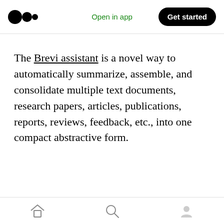Medium logo | Open in app | Get started
The Brevi assistant is a novel way to automatically summarize, assemble, and consolidate multiple text documents, research papers, articles, publications, reports, reviews, feedback, etc., into one compact abstractive form.
At Brevi Assistant, we integrated the most popular open-source databases to empower Researchers, Teachers, and Students to find relevant Contents/Abstracts and to always have...
Home | Search | Profile